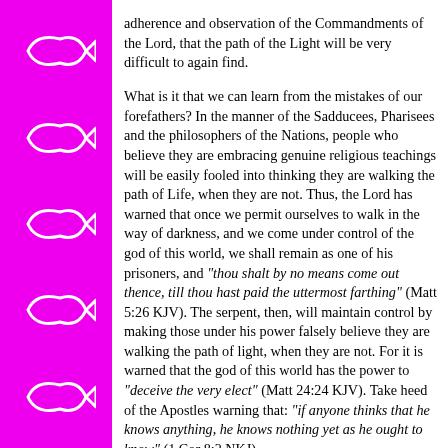[Figure (illustration): Magenta/pink left column with 5 white outline ichthys (Christian fish) symbols arranged vertically]
adherence and observation of the Commandments of the Lord, that the path of the Light will be very difficult to again find.

What is it that we can learn from the mistakes of our forefathers? In the manner of the Sadducees, Pharisees and the philosophers of the Nations, people who believe they are embracing genuine religious teachings will be easily fooled into thinking they are walking the path of Life, when they are not. Thus, the Lord has warned that once we permit ourselves to walk in the way of darkness, and we come under control of the god of this world, we shall remain as one of his prisoners, and "thou shalt by no means come out thence, till thou hast paid the uttermost farthing" (Matt 5:26 KJV). The serpent, then, will maintain control by making those under his power falsely believe they are walking the path of light, when they are not. For it is warned that the god of this world has the power to "deceive the very elect" (Matt 24:24 KJV). Take heed of the Apostles warning that: "if anyone thinks that he knows anything, he knows nothing yet as he ought to know" (1 Cor 8:2 NKJ).